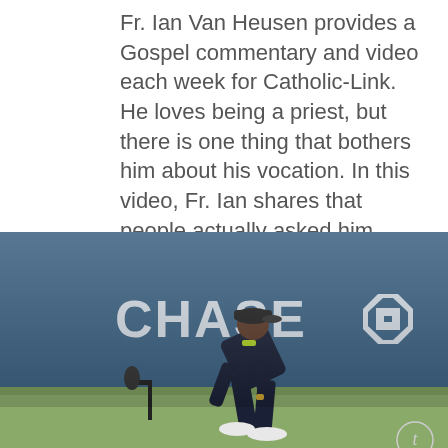Fr. Ian Van Heusen provides a Gospel commentary and video each week for Catholic-Link. He loves being a priest, but there is one thing that bothers him about his vocation. In this video, Fr. Ian shares that people actually asked him more spiritual questions when he...
[Figure (photo): A person in dark navy clothing and a baseball cap leans forward examining the ground of a tennis court. Behind them is a large blue Chase Bank advertisement board with the Chase logo visible. A microphone stand is visible on the left side. A New York Times logo watermark appears in the bottom right corner.]